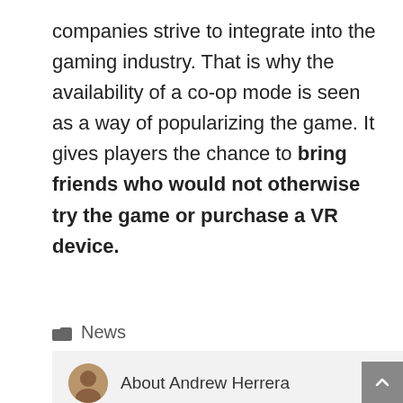companies strive to integrate into the gaming industry. That is why the availability of a co-op mode is seen as a way of popularizing the game. It gives players the chance to bring friends who would not otherwise try the game or purchase a VR device.
News
About Andrew Herrera
Andrew is arguably the geekiest member of our team. He has a knack for new gaming hardware and awesome gadgets. Although Overwatch is